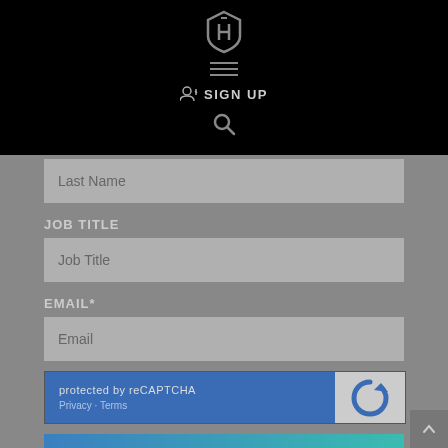[Figure (logo): Shield/badge logo icon in white/grey on black background]
[Figure (other): Hamburger menu icon (three horizontal lines) in grey on black background]
SIGN UP
[Figure (other): Search magnifying glass icon in grey on black background]
Last Name
JOB TITLE
Job Title
EMAIL*
Email
[Figure (other): reCAPTCHA widget with blue background on left showing 'protected by reCAPTCHA' and Privacy - Terms links, and grey box on right with reCAPTCHA logo]
SIGN UP HERE